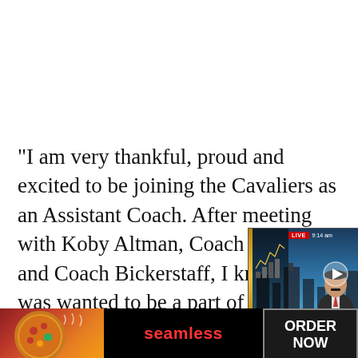“I am very thankful, proud and excited to be joining the Cavaliers as an Assistant Coach. After meeting with Koby Altman, Coach Beilein and Coach Bickerstaff, I knew this was wanted to be a part of and dedicate myself to,” Gottlieb level, I am honored to hope and women to be empowered to pursue their own vision ility as
[Figure (screenshot): Video overlay showing a Bloomberg/financial news live broadcast with a male anchor, city skyline background. Live badge shown, news ticker reads ASIAN STOCKS HOVER NEAR 6-WEEK LOWS. Name plate shows Rahul Chadha, MIRAE ASSET GLOBAL INVESTMENT PTE LTD.]
[Figure (screenshot): Advertisement banner at bottom: pizza image on the left, Seamless logo in red text on black background in the middle, ORDER NOW button on the right with dark background.]